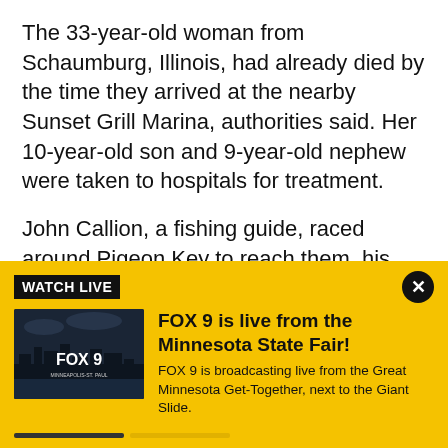The 33-year-old woman from Schaumburg, Illinois, had already died by the time they arrived at the nearby Sunset Grill Marina, authorities said. Her 10-year-old son and 9-year-old nephew were taken to hospitals for treatment.
John Callion, a fishing guide, raced around Pigeon Key to reach them, his fiancée, Kasey Platt, told WPLG.
RELATED: 1 out of 4 Floridians would ignore hurricane evacuation warnings, survey says
[Figure (screenshot): Watch Live banner with FOX 9 thumbnail and text 'FOX 9 is live from the Minnesota State Fair! FOX 9 is broadcasting live from the Great Minnesota Get-Together, next to the Giant Slide.']